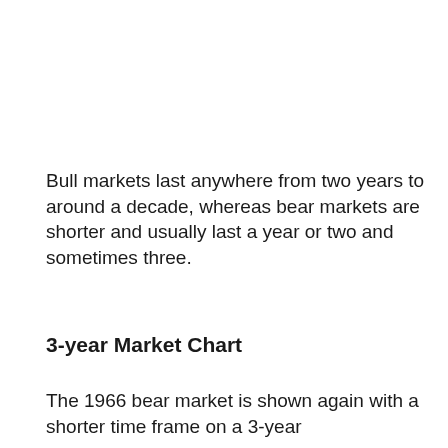Bull markets last anywhere from two years to around a decade, whereas bear markets are shorter and usually last a year or two and sometimes three.
3-year Market Chart
The 1966 bear market is shown again with a shorter time frame on a 3-year